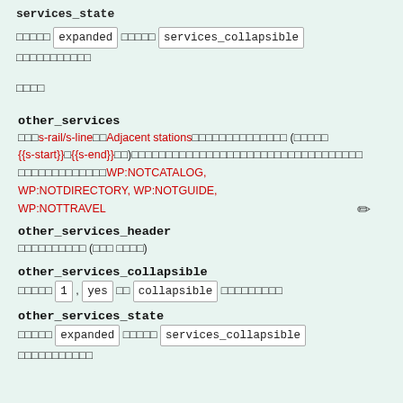services_state
□□□□□ expanded □□□□□ services_collapsible □□□□□□□□□□□
□□□□
other_services
□□□s-rail/s-line□□Adjacent stations□□□□□□□□□□□□□□ (□□□□□ {{s-start}}□{{s-end}}□□)□□□□□□□□□□□□□□□□□□□□□□□□□□□□□□□□□□WP:NOTCATALOG, WP:NOTDIRECTORY, WP:NOTGUIDE, WP:NOTTRAVEL
other_services_header
□□□□□□□□□□ (□□□ □□□□)
other_services_collapsible
□□□□□ 1 , yes □□ collapsible □□□□□□□□□
other_services_state
□□□□□ expanded □□□□□ services_collapsible □□□□□□□□□□□